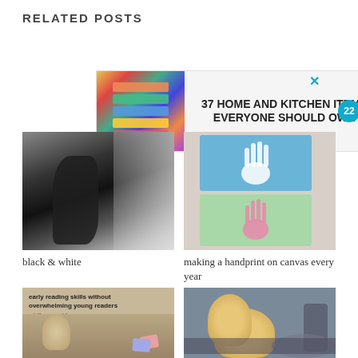RELATED POSTS
[Figure (infographic): Advertisement banner: colorful zip-lock bags image on left, bold text '37 HOME AND KITCHEN ITEMS EVERYONE SHOULD OWN', teal badge with number 22, and X close button]
[Figure (photo): Black and white photo of silhouettes of children by a window]
black & white
[Figure (photo): Photo of two canvas panels with handprints — one blue with white handprint, one green with pink handprint]
making a handprint on canvas every year
[Figure (photo): Photo of child holding reading cards with text overlay 'early reading skills without overwhelming young readers']
[Figure (photo): Photo of young child with dishwasher and cookware in background]